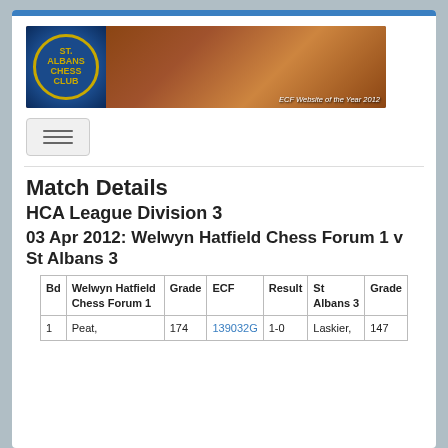[Figure (photo): St Albans Chess Club banner with logo on left and chess pieces photo on right. Text: ECF Website of the Year 2012]
Match Details
HCA League Division 3
03 Apr 2012: Welwyn Hatfield Chess Forum 1 v St Albans 3
| Bd | Welwyn Hatfield Chess Forum 1 | Grade | ECF | Result | St Albans 3 | Grade |
| --- | --- | --- | --- | --- | --- | --- |
| 1 | Peat, | 174 | 139032G | 1-0 | Laskier, | 147 |